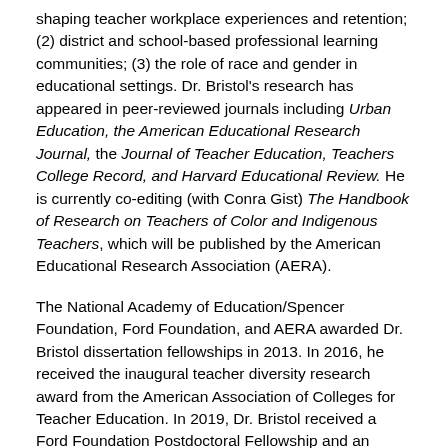shaping teacher workplace experiences and retention; (2) district and school-based professional learning communities; (3) the role of race and gender in educational settings. Dr. Bristol's research has appeared in peer-reviewed journals including Urban Education, the American Educational Research Journal, the Journal of Teacher Education, Teachers College Record, and Harvard Educational Review. He is currently co-editing (with Conra Gist) The Handbook of Research on Teachers of Color and Indigenous Teachers, which will be published by the American Educational Research Association (AERA).
The National Academy of Education/Spencer Foundation, Ford Foundation, and AERA awarded Dr. Bristol dissertation fellowships in 2013. In 2016, he received the inaugural teacher diversity research award from the American Association of Colleges for Teacher Education. In 2019, Dr. Bristol received a Ford Foundation Postdoctoral Fellowship and an emerging scholar award from the Comparative and International Education Society, African Diaspora SIG. In 2020, he received a National Academy of Education/Spencer